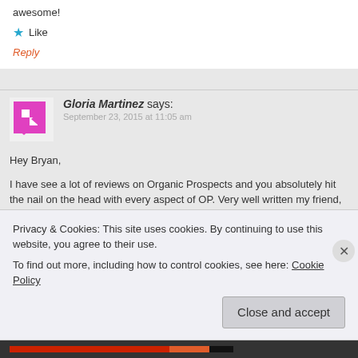awesome!
★ Like
Reply
Gloria Martinez says:
September 23, 2015 at 11:05 am
Hey Bryan,
I have see a lot of reviews on Organic Prospects and you absolutely hit the nail on the head with every aspect of OP. Very well written my friend, very well written.
I am apart of Organic Prospects and I have to say it has been the best experience I have had when having my own successful business online. I have tried many
Privacy & Cookies: This site uses cookies. By continuing to use this website, you agree to their use.
To find out more, including how to control cookies, see here: Cookie Policy
Close and accept